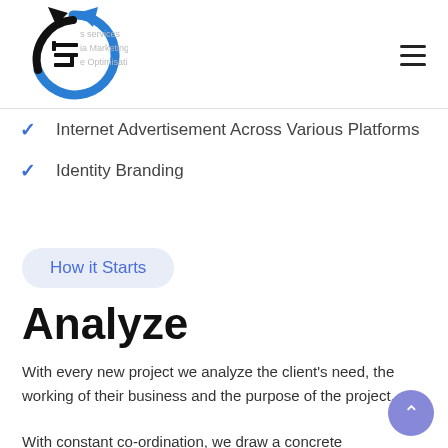[Figure (logo): Circular arrow logo with letter S and text overlay showing partial navigation menu items]
Internet Advertisement Across Various Platforms
Identity Branding
How it Starts
Analyze
With every new project we analyze the client's need, the working of their business and the purpose of the project.
With constant co-ordination, we draw a concrete